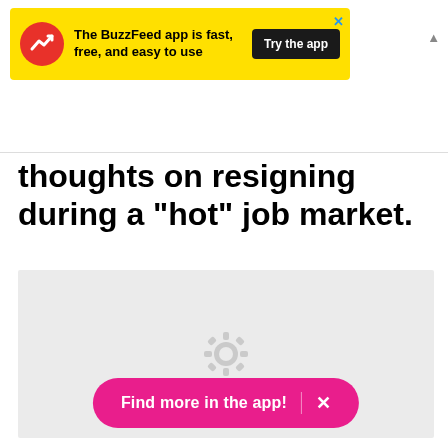[Figure (screenshot): BuzzFeed app advertisement banner with yellow background, red arrow icon, text 'The BuzzFeed app is fast, free, and easy to use', and a dark 'Try the app' button]
thoughts on resigning during a "hot" job market.
[Figure (other): Gray placeholder image area with a loading spinner icon in the center]
Find more in the app!